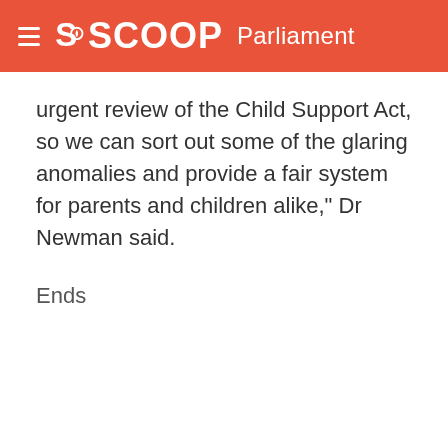SCOOP Parliament
urgent review of the Child Support Act, so we can sort out some of the glaring anomalies and provide a fair system for parents and children alike," Dr Newman said.
Ends